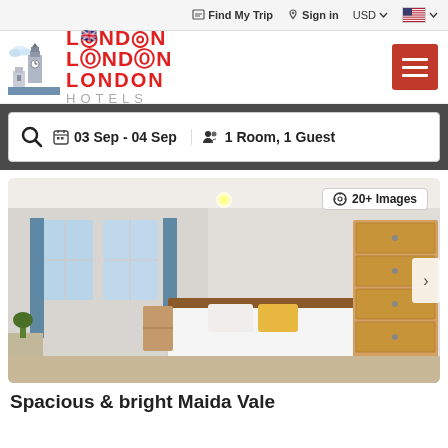Find My Trip  Sign in  USD  [US flag]
[Figure (logo): London Hotels logo with Big Ben illustration, red 'LONDON' text and grey 'HOTELS' subtext, hamburger menu button in red]
03 Sep - 04 Sep   1 Room, 1 Guest
[Figure (photo): Bright hotel room with a single bed with white linens and yellow pillow, wooden dresser on the right, windows with blue curtains on the left, desk in the corner. Badge showing '20+ Images'.]
Spacious & bright Maida Vale